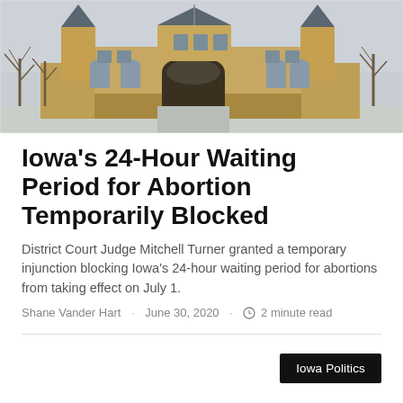[Figure (photo): Photograph of a historic stone courthouse building with turrets and arched windows, bare winter trees in the foreground, overcast sky.]
Iowa's 24-Hour Waiting Period for Abortion Temporarily Blocked
District Court Judge Mitchell Turner granted a temporary injunction blocking Iowa's 24-hour waiting period for abortions from taking effect on July 1.
Shane Vander Hart · June 30, 2020 · 2 minute read
Iowa Politics